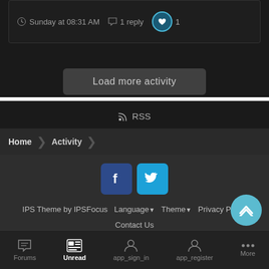Sunday at 08:31 AM  · 1 reply · ❤ 1
Load more activity
RSS
Home  Activity
[Figure (screenshot): Facebook and Twitter social media icon buttons]
IPS Theme by IPSFocus  Language▼  Theme▼  Privacy Policy  Contact Us  Ultima PSOBB  Powered by Invision Community
Forums  Unread  app_sign_in  app_register  More